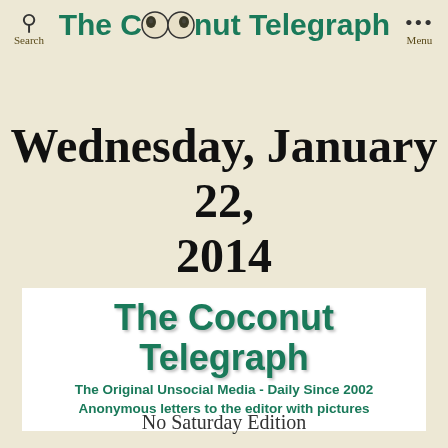Search  The Coconut Telegraph  Menu
Wednesday, January 22, 2014
[Figure (logo): The Coconut Telegraph logo banner with subtitle: The Original Unsocial Media - Daily Since 2002, Anonymous letters to the editor with pictures]
No Saturday Edition